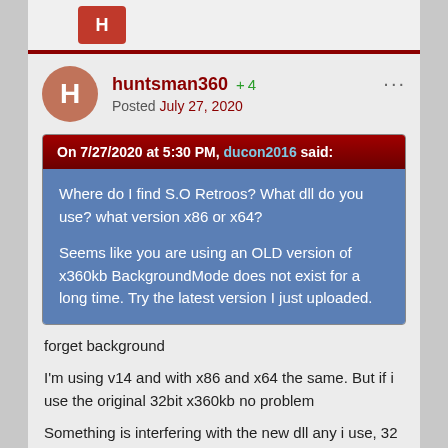[Figure (other): Top bar with forum logo/icon partially visible]
huntsman360 +4
Posted July 27, 2020
On 7/27/2020 at 5:30 PM, ducon2016 said:
Where do I find S.O Retroos? What dll do you use? what version x86 or x64?

Seems like you are using an OLD version of x360kb BackgroundMode does not exist for a long time. Try the latest version I just uploaded.
forget background
I'm using v14 and with x86 and x64 the same. But if i use the original 32bit x360kb no problem
Something is interfering with the new dll any i use, 32 or 64 ,